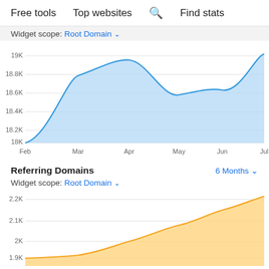Free tools   Top websites   🔍 Find stats
Widget scope: Root Domain ▾
[Figure (area-chart): ]
Referring Domains    6 Months ▾
Widget scope: Root Domain ▾
[Figure (area-chart): ]